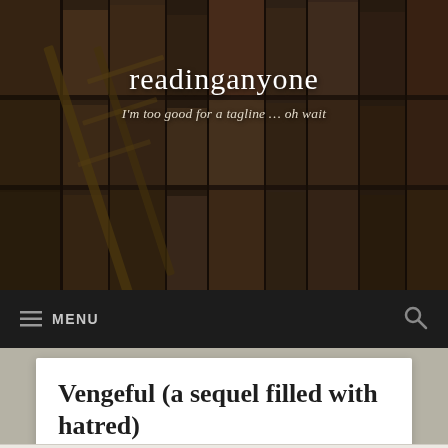[Figure (photo): Library bookshelf background photo with books on shelves, warm brown tones, dark overlay]
readinganyone
I'm too good for a tagline … oh wait
☰ MENU
Vengeful (a sequel filled with hatred)
Privacy & Cookies: This site uses cookies. By continuing to use this website, you agree to their use.
To find out more, including how to control cookies, see here: Cookie Policy
Close and accept
humness of Friday's Valentine's Day post … Figured that